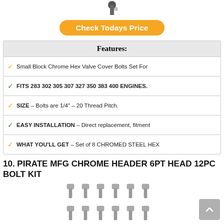[Figure (photo): Partial bolt/fastener image at top of page]
Check Todays Price
| Features: |
| --- |
| Small Block Chrome Hex Valve Cover Bolts Set For |
| FITS 283 302 305 307 327 350 383 400 ENGINES. |
| SIZE – Bolts are 1/4" – 20 Thread Pitch. |
| EASY INSTALLATION – Direct replacement, fitment |
| WHAT YOU'LL GET – Set of 8 CHROMED STEEL HEX |
10. PIRATE MFG CHROME HEADER 6PT HEAD 12PC BOLT KIT
[Figure (photo): Photo of chrome header bolts – two rows of 6 bolts each]